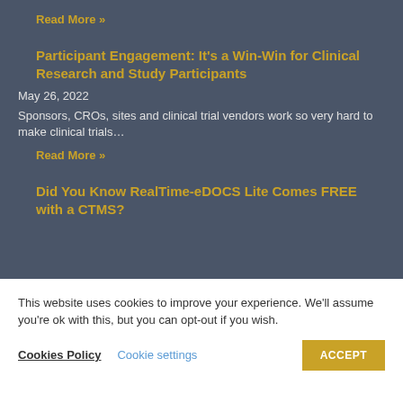Read More »
Participant Engagement: It's a Win-Win for Clinical Research and Study Participants
May 26, 2022
Sponsors, CROs, sites and clinical trial vendors work so very hard to make clinical trials…
Read More »
Did You Know RealTime-eDOCS Lite Comes FREE with a CTMS?
This website uses cookies to improve your experience. We'll assume you're ok with this, but you can opt-out if you wish.
Cookies Policy  Cookie settings  ACCEPT